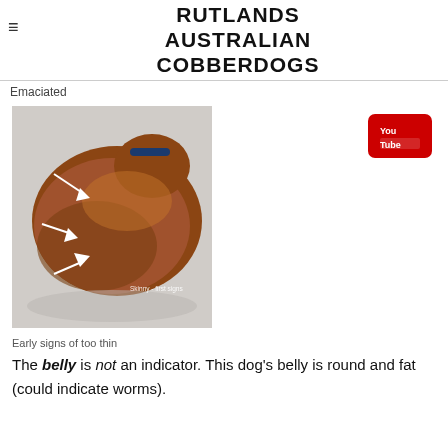RUTLANDS AUSTRALIAN COBBERDOGS
Emaciated
[Figure (photo): A brown dog curled up on a floor viewed from above, with white arrows pointing to visible ribs/spine. Text overlay reads 'Skinny - first signs'.]
Early signs of too thin
The belly is not an indicator. This dog's belly is round and fat (could indicate worms).